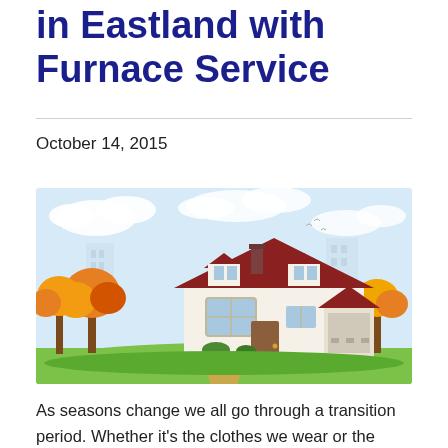in Eastland with Furnace Service
October 14, 2015
[Figure (illustration): Illustrated autumn scene with a suburban house featuring a red roof, white walls, dormers, a chimney, garage, surrounded by orange and yellow autumn trees, green lawn with a pathway, city skyline and blue sky with clouds in the background.]
As seasons change we all go through a transition period. Whether it's the clothes we wear or the